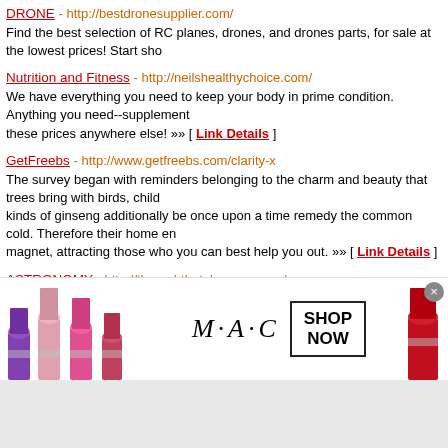DRONE - http://bestdronesupplier.com/ Find the best selection of RC planes, drones, and drones parts, for sale at the lowest prices! Start sho...
Nutrition and Fitness - http://neilshealthychoice.com/ We have everything you need to keep your body in prime condition. Anything you need--supplement... these prices anywhere else! »» [ Link Details ]
GetFreebs - http://www.getfreebs.com/clarity-x The survey began with reminders belonging to the charm and beauty that trees bring with birds, child... kinds of ginseng additionally be once upon a time remedy the common cold. Therefore their home en... magnet, attracting those who you can best help you out. »» [ Link Details ]
ASTRONOMY - http://throughthetelescope.com/ WE HAVE EVERYTHING FOR ALL YOUR TELESCOPE AND ASTRONOMY NEEDS. »» [ Lin...
WATER FILTERS - http://thewaterfiltermarket.com/ Our website offers everything you want for all of your water filter needs! »» [ Link Details ]
Spy Cameras - http://www.suraksha.biz Get the best home security systems and a solution for all your worries with eSuraksha installation ser... burglaries »» [ Link Details ]
Premarry.co.uk - http://www.premarry.co.uk fabulous planning ideas for bride, groom, bridesmaids »» [ Link Details ]
...gh Survival Gear - http://tacticalsurplus.net/ ...
[Figure (advertisement): MAC cosmetics advertisement showing lipsticks on left and right, MAC logo in center, and SHOP NOW box]